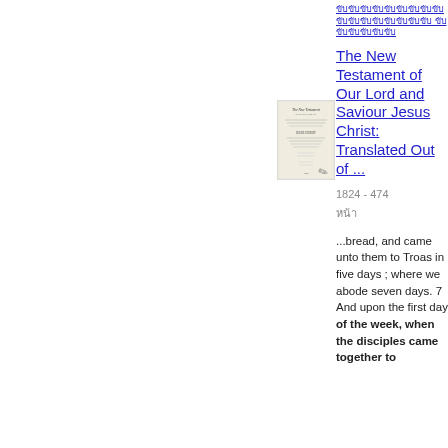ขับขับขับขับขับขับขับขับขับขับขับขับขับขับขับขับขับ ขับขับขับขับขับขับ
[Figure (photo): Small thumbnail image of a book cover for The New Testament]
The New Testament of Our Lord and Saviour Jesus Christ: Translated Out of ...
1824 - 474
หน้า
...bread, and came unto them to Troas in five days ; where we abode seven days. 7 And upon the first day of the week, when the disciples came together to